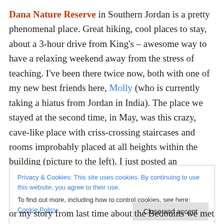Dana Nature Reserve in Southern Jordan is a pretty phenomenal place. Great hiking, cool places to stay, about a 3-hour drive from King's – awesome way to have a relaxing weekend away from the stress of teaching. I've been there twice now, both with one of my new best friends here, Molly (who is currently taking a hiatus from Jordan in India). The place we stayed at the second time, in May, was this crazy, cave-like place with criss-crossing staircases and rooms improbably placed at all heights within the building (picture to the left). I just posted an
Privacy & Cookies: This site uses cookies. By continuing to use this website, you agree to their use.
To find out more, including how to control cookies, see here: Cookie Policy
or my story from last time about the Bedouins we met